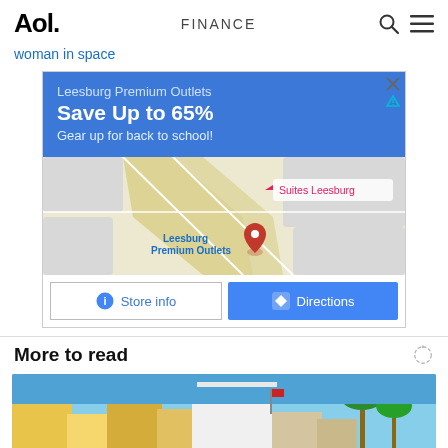Aol. FINANCE
woman in space
[Figure (screenshot): Advertisement for Leesburg Premium Outlets showing a blue banner with 'Save Up to 65% Gear up for back to school!', a Google Maps view of the outlet location, and buttons for Store info and Directions.]
More to read
[Figure (photo): Partial view of buildings with blue sky and palm trees, beginning of an article image.]